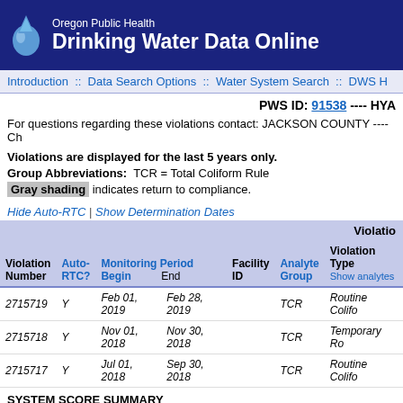Oregon Public Health Drinking Water Data Online
Introduction :: Data Search Options :: Water System Search :: DWS H
PWS ID: 91538 ---- HYA
For questions regarding these violations contact: JACKSON COUNTY ---- Ch
Violations are displayed for the last 5 years only.
Group Abbreviations: TCR = Total Coliform Rule
Gray shading indicates return to compliance.
Hide Auto-RTC | Show Determination Dates
| Violation Number | Auto-RTC? | Monitoring Period Begin | Monitoring Period End | Facility ID | Analyte Group | Violation Type |
| --- | --- | --- | --- | --- | --- | --- |
| 2715719 | Y | Feb 01, 2019 | Feb 28, 2019 |  | TCR | Routine Colifo... |
| 2715718 | Y | Nov 01, 2018 | Nov 30, 2018 |  | TCR | Temporary Ro... |
| 2715717 | Y | Jul 01, 2018 | Sep 30, 2018 |  | TCR | Routine Colifo... |
SYSTEM SCORE SUMMARY